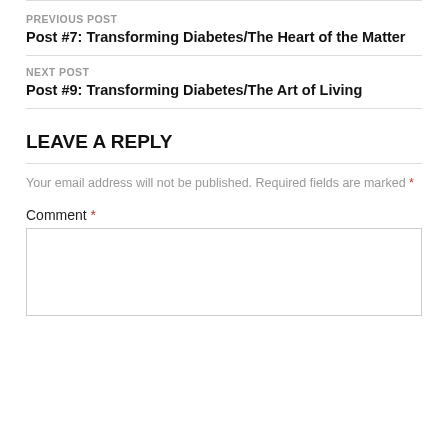PREVIOUS POST
Post #7: Transforming Diabetes/The Heart of the Matter
NEXT POST
Post #9: Transforming Diabetes/The Art of Living
LEAVE A REPLY
Your email address will not be published. Required fields are marked *
Comment *